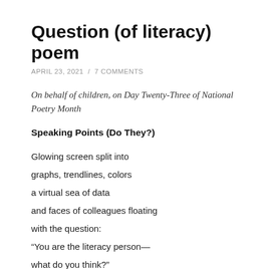Question (of literacy) poem
APRIL 23, 2021  /  7 COMMENTS
On behalf of children, on Day Twenty-Three of National Poetry Month
Speaking Points (Do They?)
Glowing screen split into
graphs, trendlines, colors
a virtual sea of data
and faces of colleagues floating
with the question:
“You are the literacy person—
what do you think?"